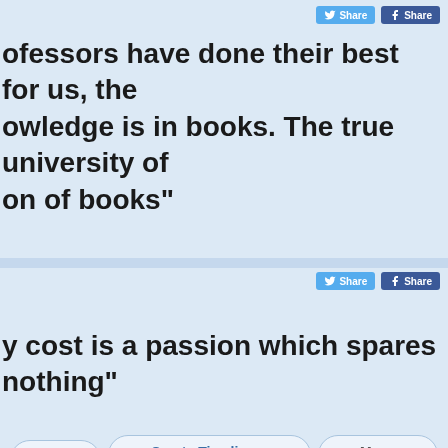ofessors have done their best for us, the owledge is in books. The true university of on of books"
Vote | Create Timeline Photo | More info
Share (Twitter) | Share (Facebook)
y cost is a passion which spares nothing"
Vote | Create Timeline Photo | More info